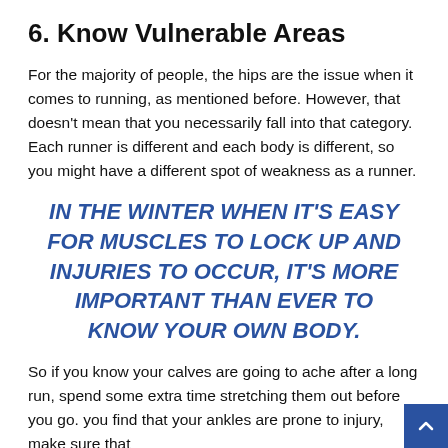6. Know Vulnerable Areas
For the majority of people, the hips are the issue when it comes to running, as mentioned before. However, that doesn't mean that you necessarily fall into that category. Each runner is different and each body is different, so you might have a different spot of weakness as a runner.
IN THE WINTER WHEN IT'S EASY FOR MUSCLES TO LOCK UP AND INJURIES TO OCCUR, IT'S MORE IMPORTANT THAN EVER TO KNOW YOUR OWN BODY.
So if you know your calves are going to ache after a long run, spend some extra time stretching them out before you go. you find that your ankles are prone to injury, make sure that